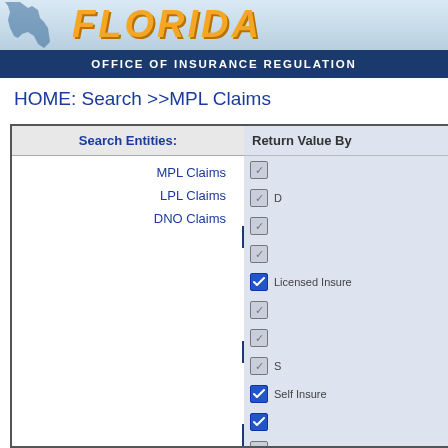FLORIDA - OFFICE OF INSURANCE REGULATION
HOME: Search >>MPL Claims
| Search Entities: | Return Value By |
| --- | --- |
| MPL Claims | ☑ (unchecked) |
| LPL Claims | ☑ (unchecked) |
| DNO Claims | ☑ (unchecked) |
|  | ☑ (unchecked) |
|  | ☑ (checked) Licensed Insure... |
|  | ☑ (unchecked) |
|  | ☑ (unchecked) |
|  | ☑ (unchecked) S... |
|  | ☑ (checked) Self Insure... |
|  | ☑ (checked) |
|  | ☑ (unchecked) Insured (Doctor's... |
|  | ☑ (unchecked) Insured (Doctor's... |
|  | ☑ (unchecked) |
|  | ☑ (checked) Insured (Doc... |